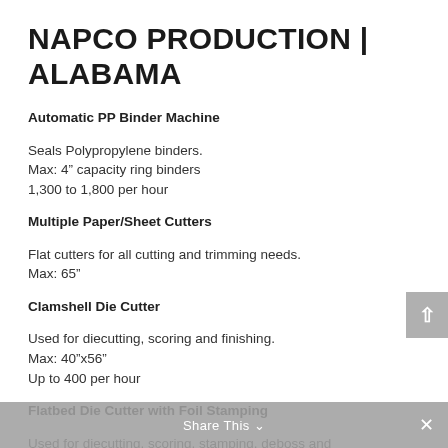NAPCO PRODUCTION | ALABAMA
Automatic PP Binder Machine
Seals Polypropylene binders.
Max: 4” capacity ring binders
1,300 to 1,800 per hour
Multiple Paper/Sheet Cutters
Flat cutters for all cutting and trimming needs.
Max: 65”
Clamshell Die Cutter
Used for diecutting, scoring and finishing.
Max: 40”x56”
Up to 400 per hour
Flatbed Die Cutter with Foil Stamping
Used for diecutting, scoring, stamping, deboss and finishing.
Share This